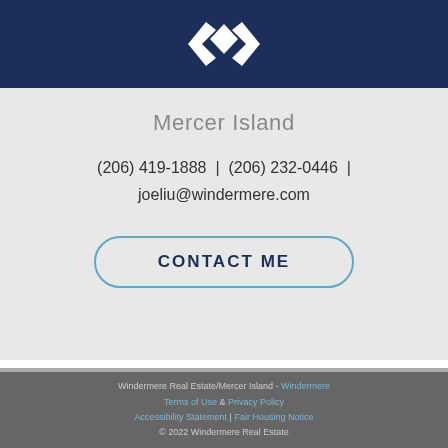[Figure (logo): Windermere Real Estate logo - white diamond/arrow shapes on dark navy background]
Mercer Island
(206) 419-1888  |  (206) 232-0446  |  joeliu@windermere.com
CONTACT ME
Windermere Real Estate/Mercer Island - Windermere  Terms of Use  &  Privacy Policy  Accessibility Statement | Fair Housing Notice  © 2022 Windermere Real Estate